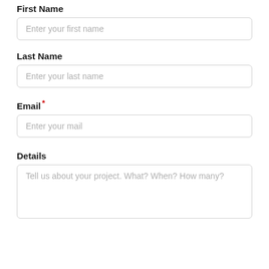First Name
Enter your first name
Last Name
Enter your last name
Email *
Enter your mail
Details
Tell us about your project. What? When? How many?